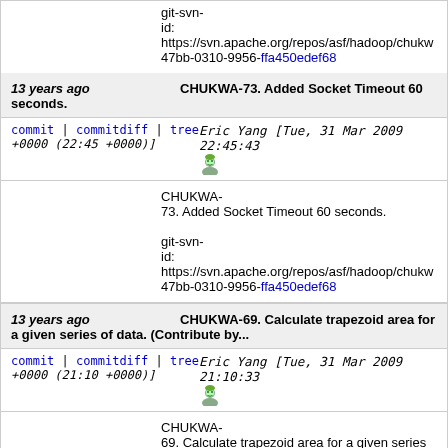git-svn-id: https://svn.apache.org/repos/asf/hadoop/chukw 47bb-0310-9956-ffa450edef68
13 years ago CHUKWA-73. Added Socket Timeout 60 seconds.
commit | commitdiff | tree Eric Yang [Tue, 31 Mar 2009 22:45:43 +0000 (22:45 +0000)]
CHUKWA-73. Added Socket Timeout 60 seconds.
git-svn-id: https://svn.apache.org/repos/asf/hadoop/chukw 47bb-0310-9956-ffa450edef68
13 years ago CHUKWA-69. Calculate trapezoid area for a given series of data. (Contribute by...
commit | commitdiff | tree Eric Yang [Tue, 31 Mar 2009 21:10:33 +0000 (21:10 +0000)]
CHUKWA-69. Calculate trapezoid area for a given series of
git-svn-id: https://svn.apache.org/repos/asf/hadoop/chukw 47bb-0310-9956-ffa450edef68